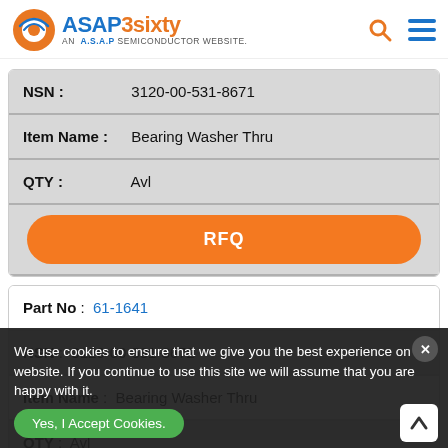ASAP3sixty — AN A.S.A.P SEMICONDUCTOR WEBSITE
| Field | Value |
| --- | --- |
| NSN : | 3120-00-531-8671 |
| Item Name : | Bearing Washer Thru |
| QTY : | Avl |
| RFQ |  |
| Field | Value |
| --- | --- |
| Part No : | 61-1641 |
| NSN : | 3120-00-531-8672 |
| Item Name : | Bearing Washer Thru |
| QTY : | Avl |
We use cookies to ensure that we give you the best experience on our website. If you continue to use this site we will assume that you are happy with it.
Yes, I Accept Cookies.